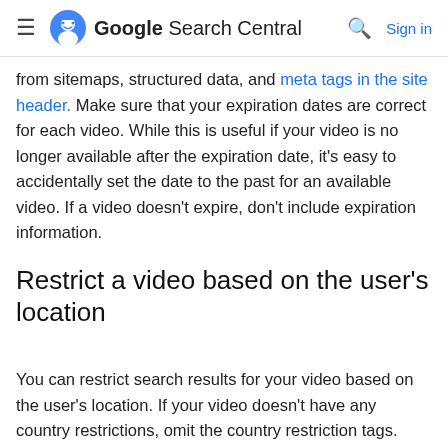Google Search Central  Sign in
from sitemaps, structured data, and meta tags in the site header. Make sure that your expiration dates are correct for each video. While this is useful if your video is no longer available after the expiration date, it's easy to accidentally set the date to the past for an available video. If a video doesn't expire, don't include expiration information.
Restrict a video based on the user's location
You can restrict search results for your video based on the user's location. If your video doesn't have any country restrictions, omit the country restriction tags.
Restrict using structured data
If you use VideoObject structured data to describe a